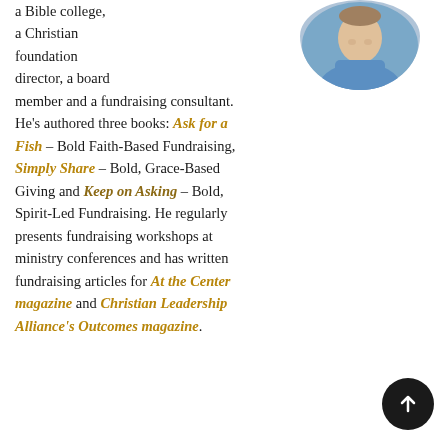[Figure (photo): Circular cropped headshot of a man wearing a blue shirt, visible from shoulders up, photographed against a light background.]
a Bible college, a Christian foundation director, a board member and a fundraising consultant. He's authored three books: Ask for a Fish – Bold Faith-Based Fundraising, Simply Share – Bold, Grace-Based Giving and Keep on Asking – Bold, Spirit-Led Fundraising. He regularly presents fundraising workshops at ministry conferences and has written fundraising articles for At the Center magazine and Christian Leadership Alliance's Outcomes magazine.